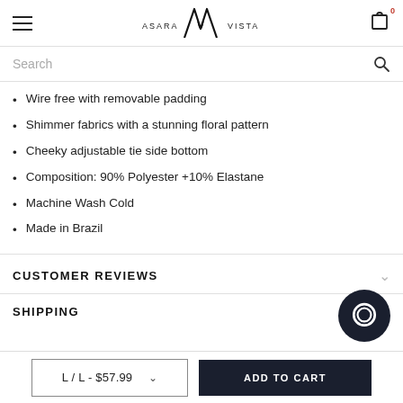Asara Vista — navigation header with hamburger menu, logo, and cart icon (0 items)
Search
Wire free with removable padding
Shimmer fabrics with a stunning floral pattern
Cheeky adjustable tie side bottom
Composition: 90% Polyester +10% Elastane
Machine Wash Cold
Made in Brazil
CUSTOMER REVIEWS
SHIPPING
L / L - $57.99    ADD TO CART